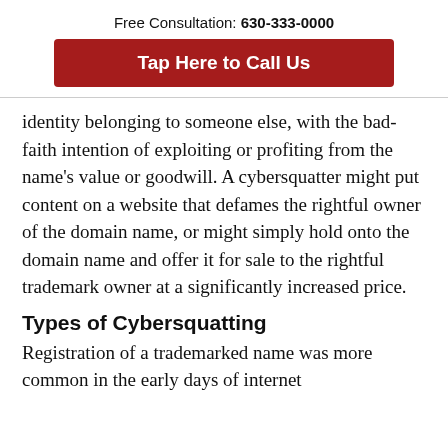Free Consultation: 630-333-0000
Tap Here to Call Us
identity belonging to someone else, with the bad-faith intention of exploiting or profiting from the name's value or goodwill. A cybersquatter might put content on a website that defames the rightful owner of the domain name, or might simply hold onto the domain name and offer it for sale to the rightful trademark owner at a significantly increased price.
Types of Cybersquatting
Registration of a trademarked name was more common in the early days of internet